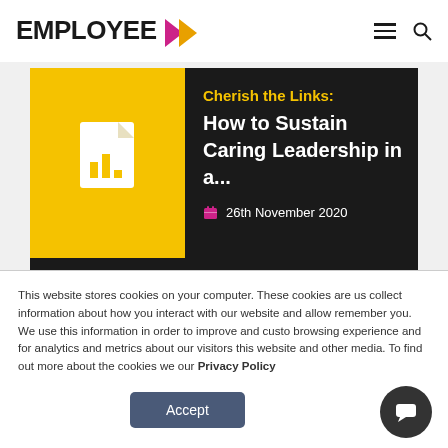EMPLOYEE > (navigation with hamburger menu and search icon)
[Figure (screenshot): Article card with yellow thumbnail showing document/chart icon, dark background info panel showing truncated title 'Cherish the Links: How to Sustain Caring Leadership in a...' dated 26th November 2020, with a Share bar below]
This website stores cookies on your computer. These cookies are us collect information about how you interact with our website and allow remember you. We use this information in order to improve and custo browsing experience and for analytics and metrics about our visitors this website and other media. To find out more about the cookies we our Privacy Policy
Accept